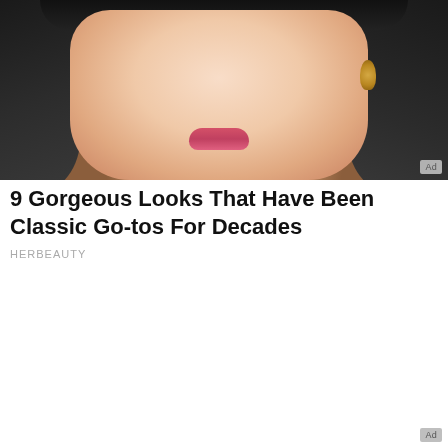[Figure (photo): Close-up portrait photo of a young Asian woman with dark hair, wearing gold earrings, with natural makeup including pink lips. An 'Ad' badge appears in the bottom right corner of the image.]
9 Gorgeous Looks That Have Been Classic Go-tos For Decades
HERBEAUTY